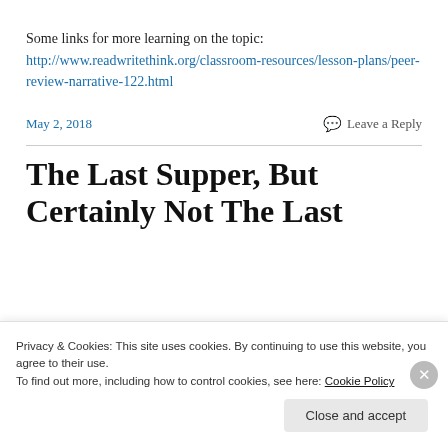Some links for more learning on the topic: http://www.readwritethink.org/classroom-resources/lesson-plans/peer-review-narrative-122.html
May 2, 2018
Leave a Reply
The Last Supper, But Certainly Not The Last
Privacy & Cookies: This site uses cookies. By continuing to use this website, you agree to their use.
To find out more, including how to control cookies, see here: Cookie Policy
Close and accept